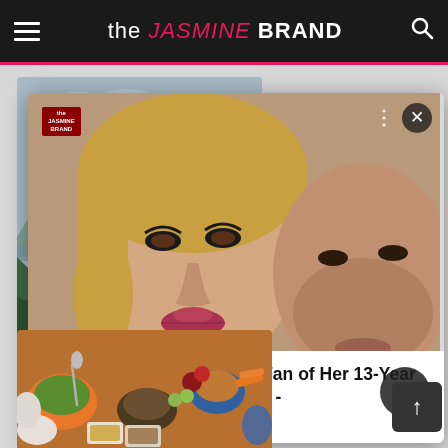the JASMINE BRAND
[Figure (screenshot): Background card showing a mountain landscape with a suspension bridge, green hills, and cloudy sky. Below it shows partial text '30 Most Da...' and attribution 'TettyBetty']
[Figure (photo): Overlay card showing a close-up selfie of a blonde woman and a man with facial tattoos making kissing/pouty faces. Includes theJasmineBRAND watermark, close (X) button, three-dot menu, and right arrow navigation button.]
Kim Kardashian Wasn't A Fan of Her 13-Year Age Gap W/ Pete Davidson - theJasmineBRAND
[Figure (photo): Food spread image showing various bowls and dishes with nuts, fruits, vegetables, grains and other foods on a wooden table.]